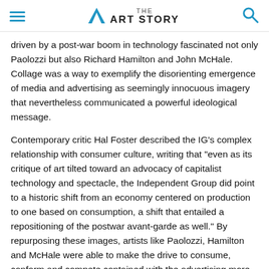THE ART STORY
driven by a post-war boom in technology fascinated not only Paolozzi but also Richard Hamilton and John McHale. Collage was a way to exemplify the disorienting emergence of media and advertising as seemingly innocuous imagery that nevertheless communicated a powerful ideological message.
Contemporary critic Hal Foster described the IG's complex relationship with consumer culture, writing that "even as its critique of art tilted toward an advocacy of capitalist technology and spectacle, the Independent Group did point to a historic shift from an economy centered on production to one based on consumption, a shift that entailed a repositioning of the postwar avant-garde as well." By repurposing these images, artists like Paolozzi, Hamilton and McHale were able to make the drive to consume, conform and compete contained with the advertising more